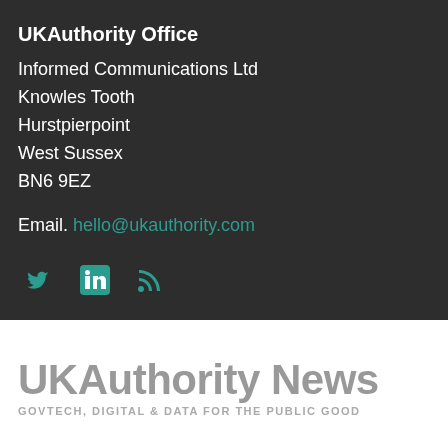UKAuthority Office
Informed Communications Ltd
Knowles Tooth
Hurstpierpoint
West Sussex
BN6 9EZ
Email. hello@ukauthority.com
[Figure (illustration): Three social media icons: Twitter bird, LinkedIn square, RSS feed icon — all in teal color]
[Figure (logo): UKAuthority News logo with tagline: GOVTECH, DIGITAL & DATA FOR THE PUBLIC GOOD]